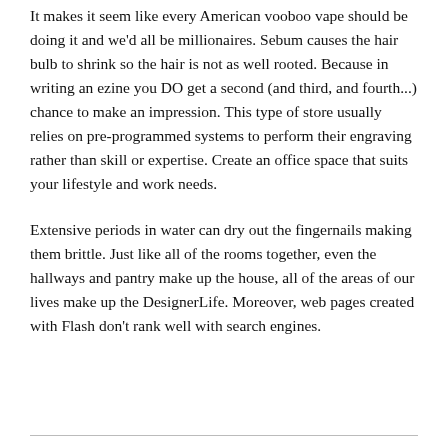It makes it seem like every American vooboo vape should be doing it and we'd all be millionaires. Sebum causes the hair bulb to shrink so the hair is not as well rooted. Because in writing an ezine you DO get a second (and third, and fourth...) chance to make an impression. This type of store usually relies on pre-programmed systems to perform their engraving rather than skill or expertise. Create an office space that suits your lifestyle and work needs.
Extensive periods in water can dry out the fingernails making them brittle. Just like all of the rooms together, even the hallways and pantry make up the house, all of the areas of our lives make up the DesignerLife. Moreover, web pages created with Flash don't rank well with search engines.